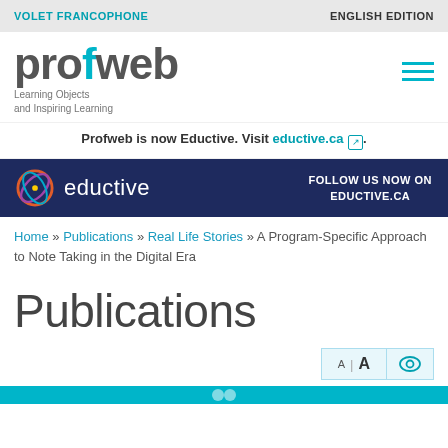VOLET FRANCOPHONE | ENGLISH EDITION
[Figure (logo): Profweb logo with text 'Learning Objects and Inspiring Learning' and hamburger menu icon]
Profweb is now Eductive. Visit eductive.ca
[Figure (logo): Eductive dark blue banner with eductive logo and text 'FOLLOW US NOW ON EDUCTIVE.CA']
Home » Publications » Real Life Stories » A Program-Specific Approach to Note Taking in the Digital Era
Publications
[Figure (other): Accessibility buttons: A|A text size and eye icon]